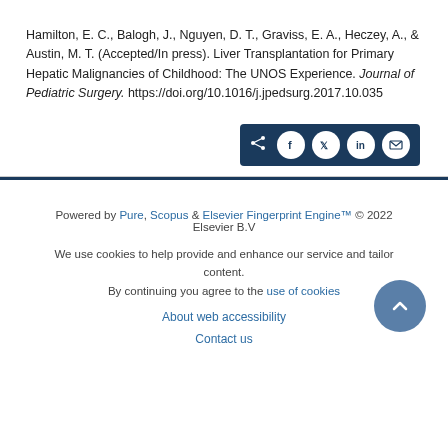Hamilton, E. C., Balogh, J., Nguyen, D. T., Graviss, E. A., Heczey, A., & Austin, M. T. (Accepted/In press). Liver Transplantation for Primary Hepatic Malignancies of Childhood: The UNOS Experience. Journal of Pediatric Surgery. https://doi.org/10.1016/j.jpedsurg.2017.10.035
[Figure (other): Social sharing bar with share, Facebook, Twitter, LinkedIn, and email icons on dark blue background]
Powered by Pure, Scopus & Elsevier Fingerprint Engine™ © 2022 Elsevier B.V
We use cookies to help provide and enhance our service and tailor content. By continuing you agree to the use of cookies
About web accessibility
Contact us